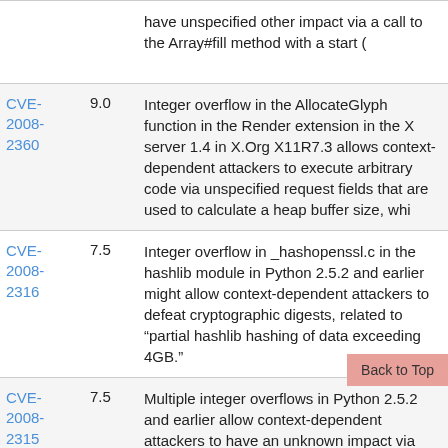| CVE | Score | Description |
| --- | --- | --- |
|  |  | have unspecified other impact via a call to the Array#fill method with a start ( |
| CVE-2008-2360 | 9.0 | Integer overflow in the AllocateGlyph function in the Render extension in the X server 1.4 in X.Org X11R7.3 allows context-dependent attackers to execute arbitrary code via unspecified request fields that are used to calculate a heap buffer size, whi |
| CVE-2008-2316 | 7.5 | Integer overflow in _hashopenssl.c in the hashlib module in Python 2.5.2 and earlier might allow context-dependent attackers to defeat cryptographic digests, related to "partial hashlib hashing of data exceeding 4GB." |
| CVE-2008-2315 | 7.5 | Multiple integer overflows in Python 2.5.2 and earlier allow context-dependent attackers to have an unknown impact via a ...related to the (1) stringobject (2)... |